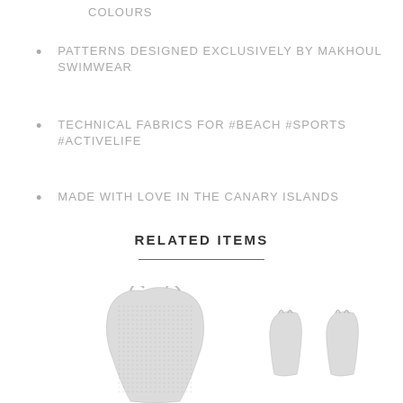COLOURS
PATTERNS DESIGNED EXCLUSIVELY BY MAKHOUL SWIMWEAR
TECHNICAL FABRICS FOR #BEACH #SPORTS #ACTIVELIFE
MADE WITH LOVE IN THE CANARY ISLANDS
RELATED ITEMS
[Figure (photo): Three swimwear items shown as product images: one large full bodysuit on the left center, and two smaller items on the right, all with a speckled/printed pattern.]